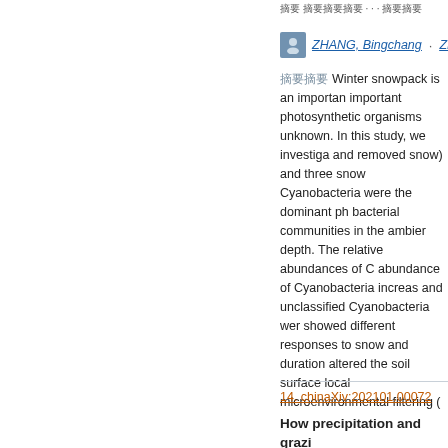2021-04
ZHANG, Bingchang · ZHANG
摘要 Winter snowpack is an important photosynthetic organisms unknown. In this study, we investiga and removed snow) and three snow Cyanobacteria were the dominant ph bacterial communities in the ambier depth. The relative abundances of C abundance of Cyanobacteria increas and unclassified Cyanobacteria wer showed different responses to snow and duration altered the soil surface local microenvironmental filtering (
14. chinaXiv:202101.00072
How precipitation and grazi